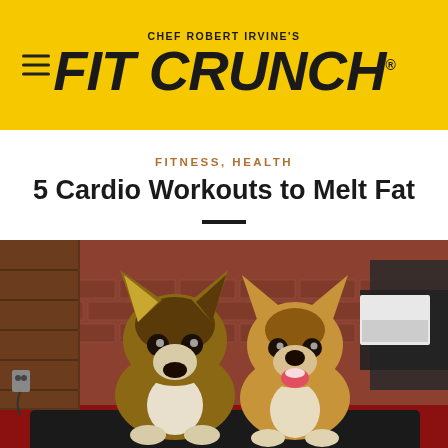Robert Irvine's FIT CRUNCH
FITNESS, HEALTH
5 Cardio Workouts to Melt Fat
[Figure (photo): Two Corgi puppies sitting on a treadmill in front of a brick wall background. The left corgi is slightly larger and faces forward with ears up. The right corgi is smaller and appears to be smiling with its tongue out. There is gym equipment visible in the background.]